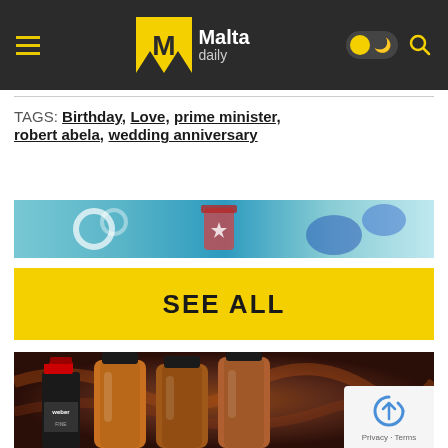Malta daily
TAGS: Birthday, Love, prime minister, robert abela, wedding anniversary
[Figure (photo): Advertisement banner with teal/cyan background, appears to show items including a ring]
[Figure (other): Yellow SEE ALL button]
[Figure (photo): Photo of sauce bottles (Weber brand and others) against a dark reddish-brown sauce background]